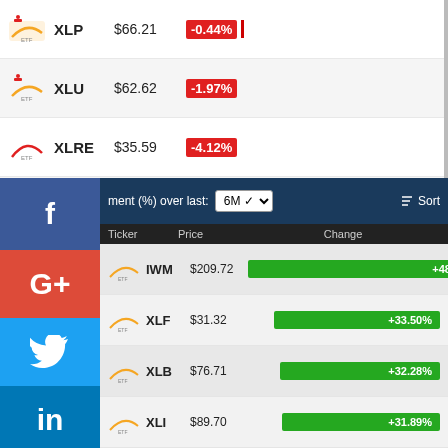| Ticker | Price | Change |
| --- | --- | --- |
| XLP | $66.21 | -0.44% |
| XLU | $62.62 | -1.97% |
| XLRE | $35.59 | -4.12% |
| TLT | $152.64 | -4.96% |
| Ticker | Price | Change |
| --- | --- | --- |
| IWM | $209.72 | +48.40% |
| XLF | $31.32 | +33.50% |
| XLB | $76.71 | +32.28% |
| XLI | $89.70 | +31.89% |
| XLY | $168.14 | +26.13% |
| ACWI | $93.03 | +21.72% |
| XLE | $43.20 | +21.55% |